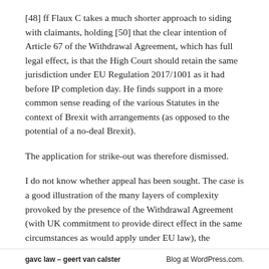[48] ff Flaux C takes a much shorter approach to siding with claimants, holding [50] that the clear intention of Article 67 of the Withdrawal Agreement, which has full legal effect, is that the High Court should retain the same jurisdiction under EU Regulation 2017/1001 as it had before IP completion day. He finds support in a more common sense reading of the various Statutes in the context of Brexit with arrangements (as opposed to the potential of a no-deal Brexit).
The application for strike-out was therefore dismissed.
I do not know whether appeal has been sought. The case is a good illustration of the many layers of complexity provoked by the presence of the Withdrawal Agreement (with UK commitment to provide direct effect in the same circumstances as would apply under EU law), the
gavc law – geert van calster    Blog at WordPress.com.